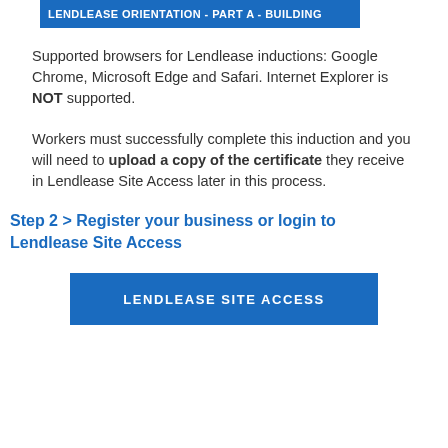LENDLEASE ORIENTATION - PART A - BUILDING
Supported browsers for Lendlease inductions: Google Chrome, Microsoft Edge and Safari. Internet Explorer is NOT supported.
Workers must successfully complete this induction and you will need to upload a copy of the certificate they receive in Lendlease Site Access later in this process.
Step 2 > Register your business or login to Lendlease Site Access
[Figure (other): Blue button labeled LENDLEASE SITE ACCESS]